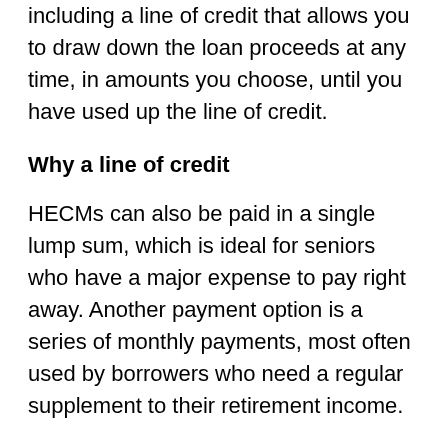including a line of credit that allows you to draw down the loan proceeds at any time, in amounts you choose, until you have used up the line of credit.
Why a line of credit
HECMs can also be paid in a single lump sum, which is ideal for seniors who have a major expense to pay right away. Another payment option is a series of monthly payments, most often used by borrowers who need a regular supplement to their retirement income.
A line of credit, on the other hand, is ideal for